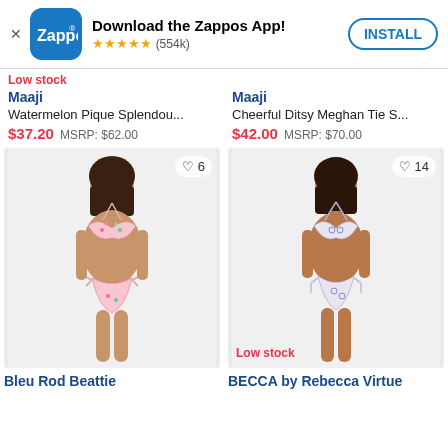[Figure (screenshot): Zappos app install banner with logo, 5-star rating (554k reviews), and INSTALL button]
Low stock
Maaji
Watermelon Pique Splendou...
$37.20  MSRP: $62.00
Maaji
Cheerful Ditsy Meghan Tie S...
$42.00  MSRP: $70.00
[Figure (photo): Model wearing Bleu Rod Beattie floral print triangle bikini, white background, heart icon with 6]
[Figure (photo): Model wearing BECCA by Rebecca Virtue geometric print triangle bikini with tassels, white background, heart icon with 14, Low stock label]
Bleu Rod Beattie
BECCA by Rebecca Virtue